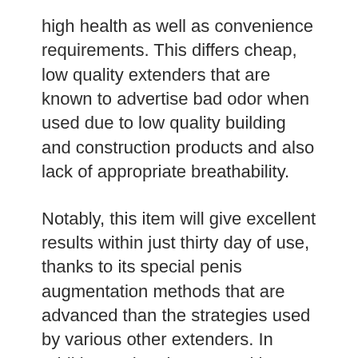high health as well as convenience requirements. This differs cheap, low quality extenders that are known to advertise bad odor when used due to low quality building and construction products and also lack of appropriate breathability.
Notably, this item will give excellent results within just thirty day of use, thanks to its special penis augmentation methods that are advanced than the strategies used by various other extenders. In addition to that, it comes with a 6-month moneyback assurance, which just serves as evidence that it isn't a rip-off.
2. Phallosan Strength